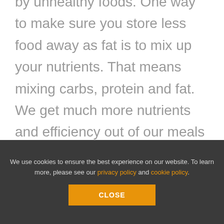by unhealthy foods. One way to make sure you store less food away as fat is to mix up your nutrients. That means mixing carbs, protein and fat. We get much more nutrients and efficiency out of our meals when those three nutrients are eaten together instead of separately. The oils in the fats and proteins will act a lot
We use cookies to ensure the best experience on our website. To learn more, please see our privacy policy and cookie policy.
CLOSE